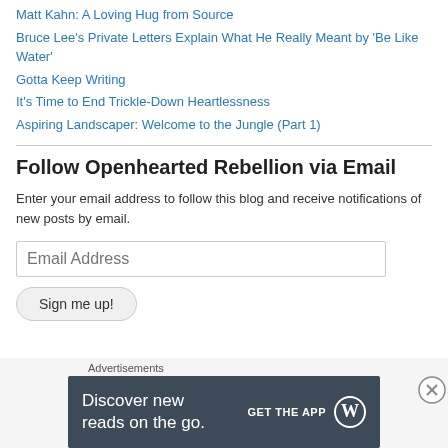Matt Kahn: A Loving Hug from Source
Bruce Lee's Private Letters Explain What He Really Meant by 'Be Like Water'
Gotta Keep Writing
It's Time to End Trickle-Down Heartlessness
Aspiring Landscaper: Welcome to the Jungle (Part 1)
Follow Openhearted Rebellion via Email
Enter your email address to follow this blog and receive notifications of new posts by email.
[Figure (screenshot): Email address input field with placeholder text 'Email Address']
[Figure (screenshot): Sign me up! button with rounded corners]
Advertisements
[Figure (screenshot): Dark banner ad: 'Discover new reads on the go. GET THE APP' with WordPress logo]